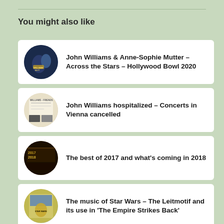You might also like
John Williams & Anne-Sophie Mutter – Across the Stars – Hollywood Bowl 2020
John Williams hospitalized – Concerts in Vienna cancelled
The best of 2017 and what's coming in 2018
The music of Star Wars – The Leitmotif and its use in 'The Empire Strikes Back'
Satellite Awards 21st edition – Nominees